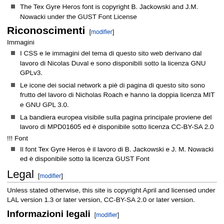The Tex Gyre Heros font is copyright B. Jackowski and J.M. Nowacki under the GUST Font License
Riconoscimenti [modifier]
Immagini
I CSS e le immagini del tema di questo sito web derivano dal lavoro di Nicolas Duval e sono disponibili sotto la licenza GNU GPLv3.
Le icone dei social network a piè di pagina di questo sito sono frutto del lavoro di Nicholas Roach e hanno la doppia licenza MIT e GNU GPL 3.0.
La bandiera europea visibile sulla pagina principale proviene del lavoro di MPD01605 ed è disponibile sotto licenza CC-BY-SA 2.0
!!! Font
Il font Tex Gyre Heros è il lavoro di B. Jackowski e J. M. Nowacki ed è disponibile sotto la licenza GUST Font
Legal [modifier]
Unless stated otherwise, this site is copyright April and licensed under LAL version 1.3 or later version, CC-BY-SA 2.0 or later version.
Informazioni legali [modifier]
A meno che diversamente specificato, questo sito è il lavoro di April e sotto